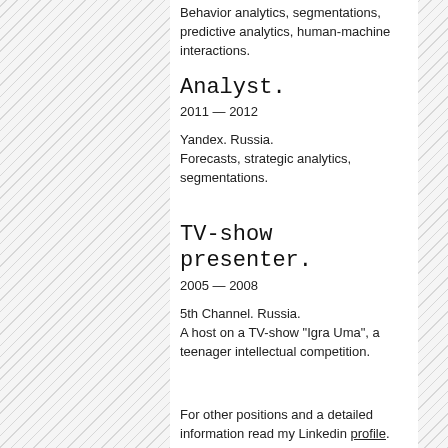Behavior analytics, segmentations, predictive analytics, human-machine interactions.
Analyst.
2011 — 2012
Yandex. Russia.
Forecasts, strategic analytics, segmentations.
TV-show presenter.
2005 — 2008
5th Channel. Russia.
A host on a TV-show "Igra Uma", a teenager intellectual competition.
For other positions and a detailed information read my Linkedin profile.
Soft Skills